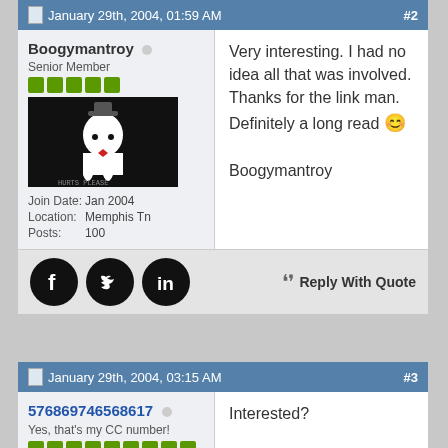January 29th, 2004, 01:59 AM  #2
Boogymantroy
Senior Member
Join Date: Jan 2004
Location: Memphis Tn
Posts: 100
Very interesting. I had no idea all that was involved. Thanks for the link man. Definitely a long read 🙂

Boogymantroy
[Figure (illustration): Social media icons: Facebook, Twitter, LinkedIn (black circles) and Reply With Quote button]
January 29th, 2004, 03:15 AM  #3
576869746568617
Yes, that's my CC number!
Interested?

Yep, that would be me!

Thanks for the link!